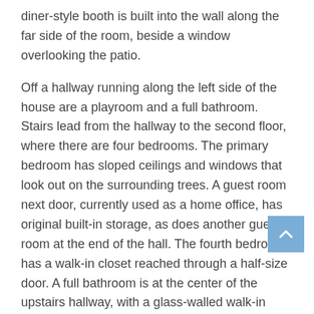diner-style booth is built into the wall along the far side of the room, beside a window overlooking the patio.
Off a hallway running along the left side of the house are a playroom and a full bathroom. Stairs lead from the hallway to the second floor, where there are four bedrooms. The primary bedroom has sloped ceilings and windows that look out on the surrounding trees. A guest room next door, currently used as a home office, has original built-in storage, as does another guest room at the end of the hall. The fourth bedroom has a walk-in closet reached through a half-size door. A full bathroom is at the center of the upstairs hallway, with a glass-walled walk-in shower and a double vanity.
The basement was converted into living space in the 1970s and is used by the sellers as a music space and den.